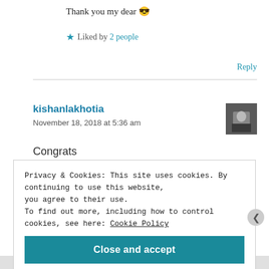Thank you my dear 😎
★ Liked by 2 people
Reply
kishanlakhotia
November 18, 2018 at 5:36 am
Congrats
Privacy & Cookies: This site uses cookies. By continuing to use this website, you agree to their use.
To find out more, including how to control cookies, see here: Cookie Policy
Close and accept